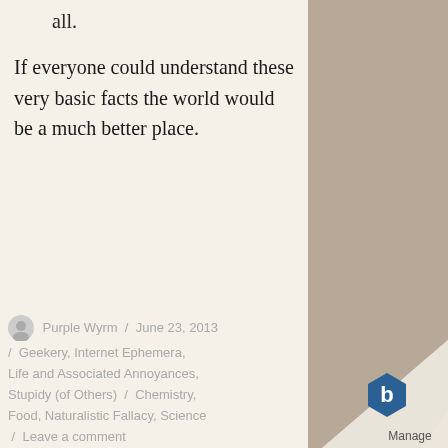all.
If everyone could understand these very basic facts the world would be a much better place.
Purple Wyrm / June 23, 2013 / Geekery, Internet Ephemera, Life and Associated Annoyances, Stupidy (of Others) / Chemistry, Food, Naturalistic Fallacy, Science / Leave a comment
I am a Terrible Human Being